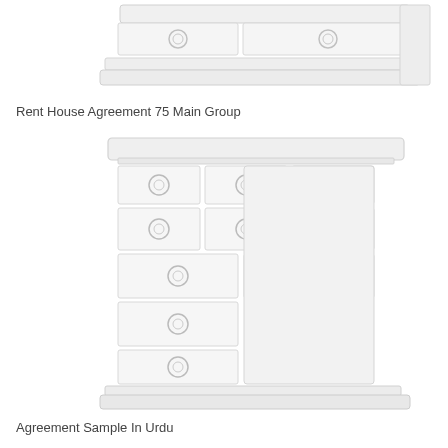[Figure (illustration): Partial view of a white dresser/chest of drawers with ring handles, cropped at top]
Rent House Agreement 75 Main Group
[Figure (illustration): Full view of a white chest of drawers with multiple drawers and ring handles]
Agreement Sample In Urdu